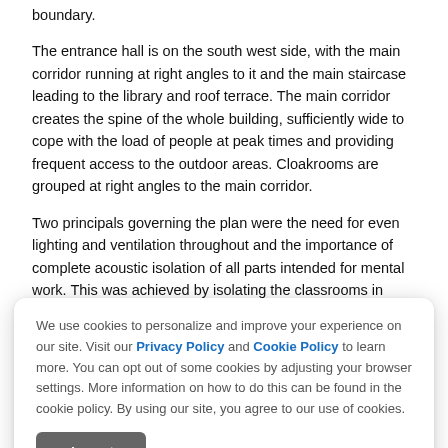boundary.
The entrance hall is on the south west side, with the main corridor running at right angles to it and the main staircase leading to the library and roof terrace. The main corridor creates the spine of the whole building, sufficiently wide to cope with the load of people at peak times and providing frequent access to the outdoor areas. Cloakrooms are grouped at right angles to the main corridor.
Two principals governing the plan were the need for even lighting and ventilation throughout and the importance of complete acoustic isolation of all parts intended for mental work. This was achieved by isolating the classrooms in pairs as separate pavilions, with open terraces between and connected with the central corridor of the building by short glazed
corridor... (partially obscured by cookie notice)
[Figure (screenshot): Cookie consent overlay banner with text about privacy and cookie policy, with an Accept button.]